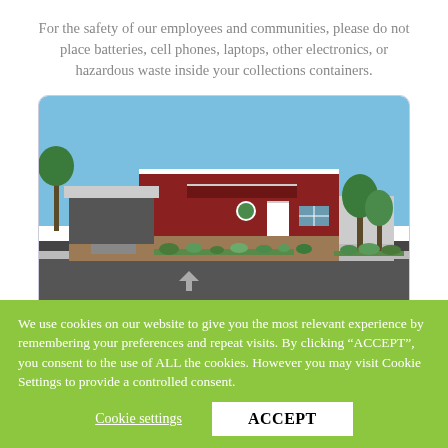For the safety of our employees and communities, please do not place batteries, cell phones, laptops, other electronics, or hazardous waste inside your collections containers.
[Figure (photo): Exterior photo of a red metal warehouse/recycling facility building with a parking lot in front, blue sky background, and trees visible.]
We use cookies on our website to give you the most relevant experience by remembering your preferences and repeat visits. By clicking "ACCEPT", you consent to the use of ALL the cookies. However you may visit Cookie Settings to provide a controlled consent.
Cookie settings
ACCEPT